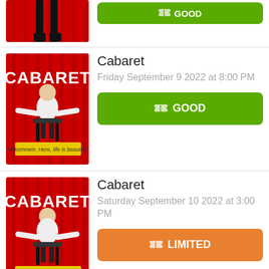[Figure (screenshot): Partial top listing for Cabaret showing bottom portion of poster image and a green GOOD button]
[Figure (illustration): Cabaret show poster: red background, white CABARET text, performer on chair, yellow banner text 'Willkommen. Here, life is beautiful.']
Cabaret
Friday September 9 2022 at 8:00 PM
GOOD
[Figure (illustration): Cabaret show poster: red background, white CABARET text, performer on chair, yellow banner text 'Willkommen. Here, life is beautiful.']
Cabaret
Saturday September 10 2022 at 3:00 PM
LIMITED